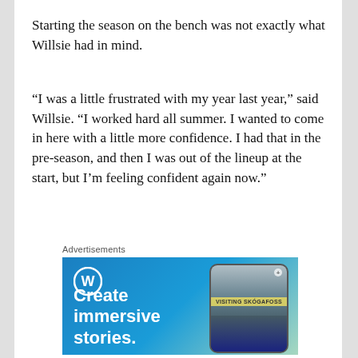Starting the season on the bench was not exactly what Willsie had in mind.
“I was a little frustrated with my year last year,” said Willsie. “I worked hard all summer. I wanted to come in here with a little more confidence. I had that in the pre-season, and then I was out of the lineup at the start, but I’m feeling confident again now.”
Advertisements
[Figure (illustration): WordPress advertisement banner with blue gradient background, WordPress logo (W in circle), text 'Create immersive stories.' on the left, and a smartphone showing a travel blog post with 'VISITING SKÓGAFOSS' label on the right.]